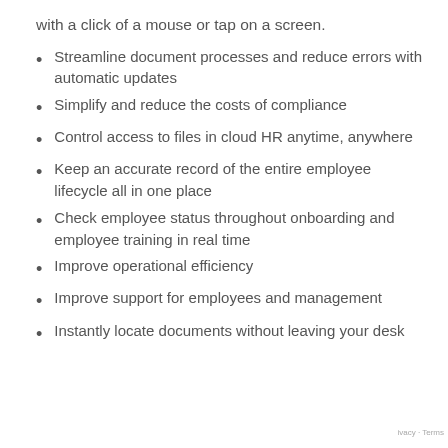with a click of a mouse or tap on a screen.
Streamline document processes and reduce errors with automatic updates
Simplify and reduce the costs of compliance
Control access to files in cloud HR anytime, anywhere
Keep an accurate record of the entire employee lifecycle all in one place
Check employee status throughout onboarding and employee training in real time
Improve operational efficiency
Improve support for employees and management
Instantly locate documents without leaving your desk